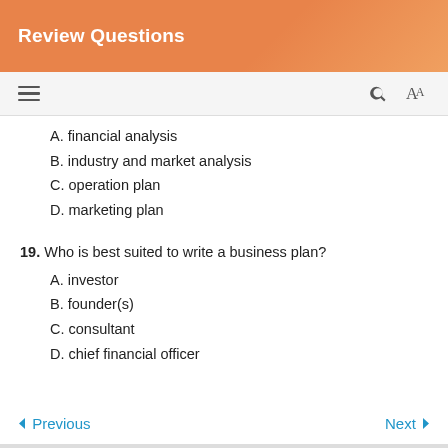Review Questions
A. financial analysis
B. industry and market analysis
C. operation plan
D. marketing plan
19. Who is best suited to write a business plan?
A. investor
B. founder(s)
C. consultant
D. chief financial officer
< Previous    Next >